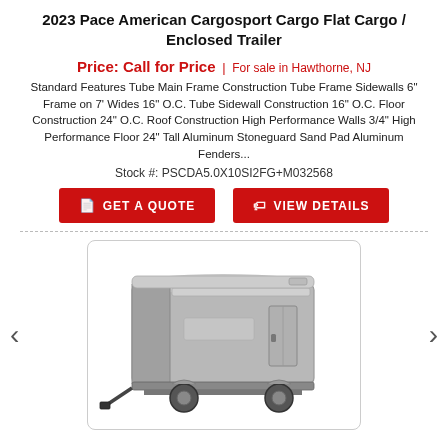2023 Pace American Cargosport Cargo Flat Cargo / Enclosed Trailer
Price: Call for Price | For sale in Hawthorne, NJ
Standard Features Tube Main Frame Construction Tube Frame Sidewalls 6" Frame on 7' Wides 16" O.C. Tube Sidewall Construction 16" O.C. Floor Construction 24" O.C. Roof Construction High Performance Walls 3/4" High Performance Floor 24" Tall Aluminum Stoneguard Sand Pad Aluminum Fenders...
Stock #: PSCDA5.0X10SI2FG+M032568
[Figure (photo): Photo of a silver 2023 Pace American Cargosport enclosed cargo trailer with single axle, shown from a front-side angle on a white background.]